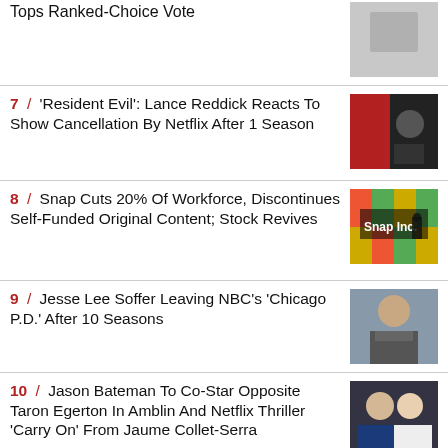Tops Ranked-Choice Vote
7 / 'Resident Evil': Lance Reddick Reacts To Show Cancellation By Netflix After 1 Season
8 / Snap Cuts 20% Of Workforce, Discontinues Self-Funded Original Content; Stock Revives
9 / Jesse Lee Soffer Leaving NBC's 'Chicago P.D.' After 10 Seasons
10 / Jason Bateman To Co-Star Opposite Taron Egerton In Amblin And Netflix Thriller 'Carry On' From Jaume Collet-Serra